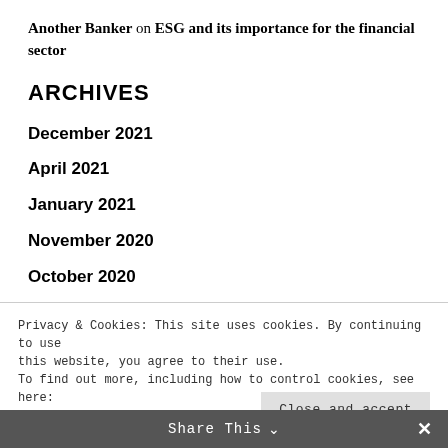Another Banker on ESG and its importance for the financial sector
ARCHIVES
December 2021
April 2021
January 2021
November 2020
October 2020
July 2020
Privacy & Cookies: This site uses cookies. By continuing to use this website, you agree to their use.
To find out more, including how to control cookies, see here: Cookie Policy
CATEGORIES